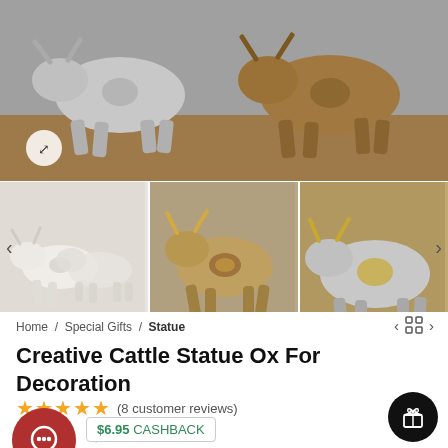[Figure (photo): Main product image showing abstract metallic bull/ox statues in silver and bronze/gold tones arranged on a wooden surface. A zoom/expand icon is visible in the top-left corner.]
[Figure (photo): Thumbnail row showing three product images of decorative cattle/ox statues: left shows white/pearl statues, center shows a gold-toned bull statue, right shows silver and gold ox statues. Navigation arrows on left and right sides.]
Home / Special Gifts / Statue
Creative Cattle Statue Ox For Decoration
★★★★★ (8 customer reviews)
$38.95
$6.95 CASHBACK